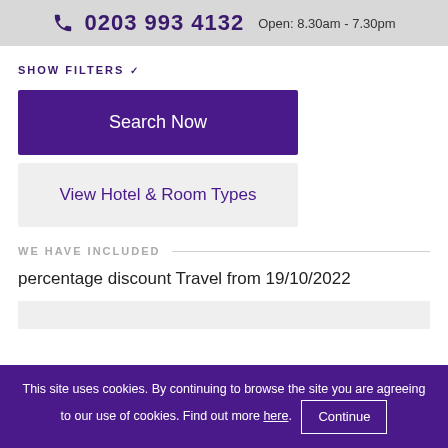0203 993 4132  Open: 8.30am - 7.30pm
SHOW FILTERS
Search Now
View Hotel & Room Types
WE HAVE INCLUDED
percentage discount Travel from 19/10/2022
This site uses cookies. By continuing to browse the site you are agreeing to our use of cookies. Find out more here. Continue